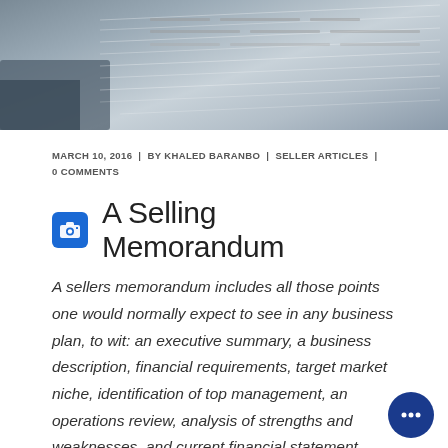[Figure (photo): Hero image showing a hand holding documents with printed text, suggesting financial or business paperwork. Gray-toned photograph.]
MARCH 10, 2016  |  BY KHALED BARANBO  |  SELLER ARTICLES  |  0 COMMENTS
A Selling Memorandum
A sellers memorandum includes all those points one would normally expect to see in any business plan, to wit: an executive summary, a business description, financial requirements, target market niche, identification of top management, an operations review, analysis of strengths and weaknesses, and current financial statement